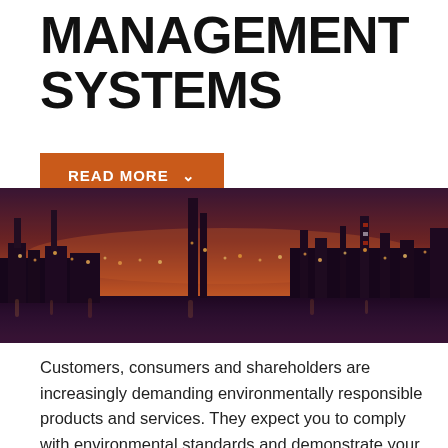MANAGEMENT SYSTEMS
READ MORE ∨
[Figure (photo): Industrial plant / oil refinery illuminated at night with a vivid orange and purple sunset sky reflected in water in the foreground]
Customers, consumers and shareholders are increasingly demanding environmentally responsible products and services. They expect you to comply with environmental standards and demonstrate your commitment to the environment in the day-to-day operations of your company. Clients have raised…